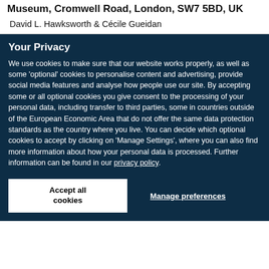Museum, Cromwell Road, London, SW7 5BD, UK
David L. Hawksworth & Cécile Gueidan
Your Privacy
We use cookies to make sure that our website works properly, as well as some 'optional' cookies to personalise content and advertising, provide social media features and analyse how people use our site. By accepting some or all optional cookies you give consent to the processing of your personal data, including transfer to third parties, some in countries outside of the European Economic Area that do not offer the same data protection standards as the country where you live. You can decide which optional cookies to accept by clicking on 'Manage Settings', where you can also find more information about how your personal data is processed. Further information can be found in our privacy policy.
Accept all cookies
Manage preferences